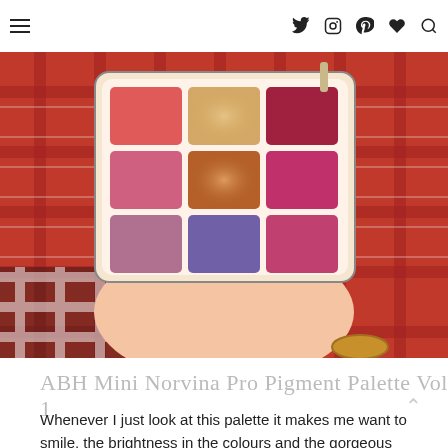Navigation header with hamburger menu and social icons (Twitter, Instagram, Pinterest, heart/favorites, search)
[Figure (photo): A hand holding an ABH (Anastasia Beverly Hills) Mini Norvina Pro Pigment Palette Vol 1, showing a 3x3 grid of eyeshadow pans in warm reds, pinks, coral shimmer, purple, and mauve shades, against a red plaid/tartan fabric background.]
ABH Mini Norvina Pro Pigment Palette Vol 1
Whenever I just look at this palette it makes me want to smile, the brightness in the colours and the gorgeous